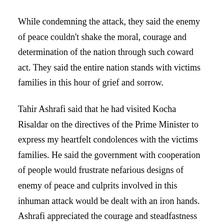While condemning the attack, they said the enemy of peace couldn't shake the moral, courage and determination of the nation through such coward act. They said the entire nation stands with victims families in this hour of grief and sorrow.
Tahir Ashrafi said that he had visited Kocha Risaldar on the directives of the Prime Minister to express my heartfelt condolences with the victims families. He said the government with cooperation of people would frustrate nefarious designs of enemy of peace and culprits involved in this inhuman attack would be dealt with an iron hands. Ashrafi appreciated the courage and steadfastness of the blast victims and assured full support to them.
Earlier, the Governor Khyber Pakhtunkhwa Shah Farman, Chief Minister Mahmood Khan, Corps Commander Peshawar Lt Gen Faiz Hameed and others Provincial Ministers visited Kocha...